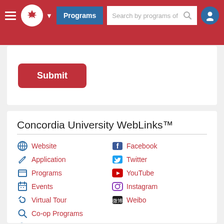Navigation bar with hamburger menu, Concordia University maple leaf logo, Programs button, search bar, and user icon
Submit
Concordia University WebLinks™
Website
Application
Programs
Events
Virtual Tour
Co-op Programs
Campus Visits
Housing
International Students
Facebook
Twitter
YouTube
Instagram
Weibo